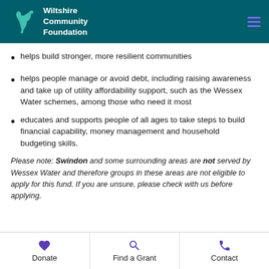Wiltshire Community Foundation
helps build stronger, more resilient communities
helps people manage or avoid debt, including raising awareness and take up of utility affordability support, such as the Wessex Water schemes, among those who need it most
educates and supports people of all ages to take steps to build financial capability, money management and household budgeting skills.
Please note: Swindon and some surrounding areas are not served by Wessex Water and therefore groups in these areas are not eligible to apply for this fund. If you are unsure, please check with us before applying.
Donate | Find a Grant | Contact